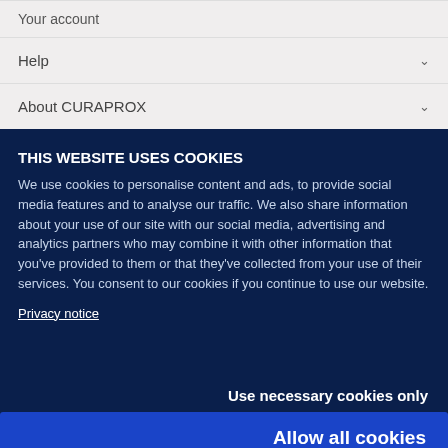Your account
Help
About CURAPROX
THIS WEBSITE USES COOKIES
We use cookies to personalise content and ads, to provide social media features and to analyse our traffic. We also share information about your use of our site with our social media, advertising and analytics partners who may combine it with other information that you've provided to them or that they've collected from your use of their services. You consent to our cookies if you continue to use our website.
Privacy notice
Use necessary cookies only
Allow all cookies
Settings